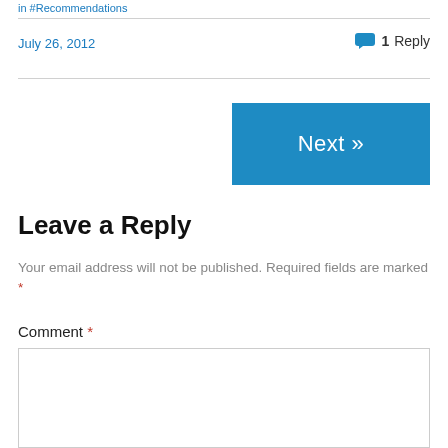in #Recommendations
July 26, 2012
1 Reply
Next »
Leave a Reply
Your email address will not be published. Required fields are marked *
Comment *